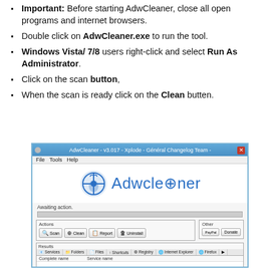Important: Before starting AdwCleaner, close all open programs and internet browsers.
Double click on AdwCleaner.exe to run the tool.
Windows Vista/ 7/8 users right-click and select Run As Administrator.
Click on the scan button,
When the scan is ready click on the Clean butten.
[Figure (screenshot): AdwCleaner v3.017 application window showing the main interface with logo, Scan/Clean/Report/Uninstall buttons, and Results section with tabs for Services, Folders, Files, Shortcuts, Registry, Internet Explorer, Firefox.]